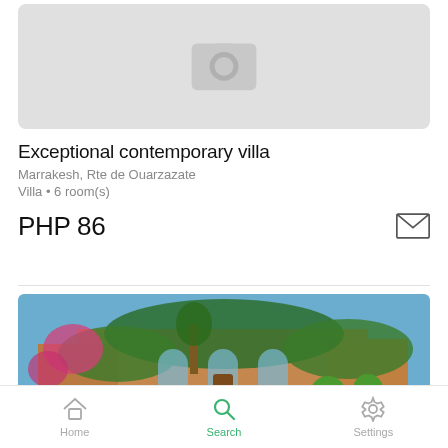[Figure (photo): Placeholder image with camera icon for a property listing]
Exceptional contemporary villa
Marrakesh, Rte de Ouarzazate
Villa • 6 room(s)
PHP 86
[Figure (photo): Exterior photo of a Moroccan villa with ivy-covered walls, bougainvillea, arched windows and trimmed topiary trees]
Home  Search  Settings